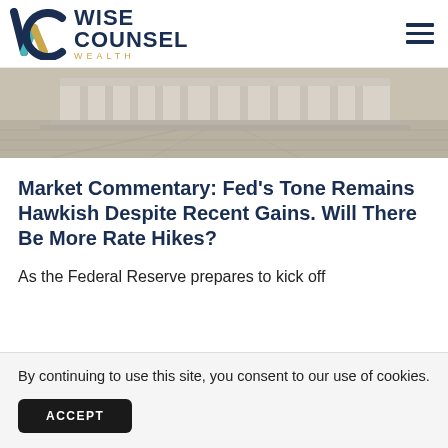[Figure (logo): Wise Counsel Wealth logo with geometric W mark in navy, teal, and gold, and wordmark 'WISE COUNSEL WEALTH']
[Figure (photo): Photograph of a government building exterior with wide steps and columns, likely the Federal Reserve or similar institution]
Market Commentary: Fed's Tone Remains Hawkish Despite Recent Gains. Will There Be More Rate Hikes?
As the Federal Reserve prepares to kick off
By continuing to use this site, you consent to our use of cookies.